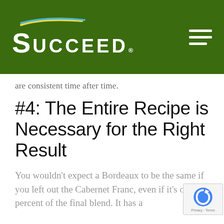SUCCEED® [logo with hamburger menu]
are consistent time after time.
#4: The Entire Recipe is Necessary for the Right Result
You wouldn't expect a Bordeaux to be the same if you left out the Cabernet Franc, even if it's only 30 percent of the final blend. It has a